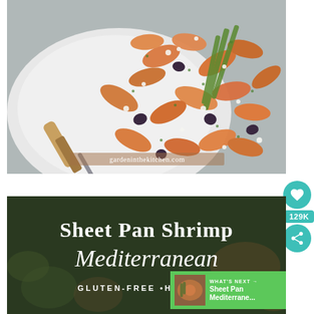[Figure (photo): Close-up photo of cooked shrimp on a white plate with asparagus, olives, and feta cheese, garnished with herbs. A serving spoon with wooden handle rests in the dish. Watermark 'gardeninthekitchen.com' visible at bottom.]
[Figure (photo): Sheet Pan Shrimp Mediterranean dish photo with dark green overlay text reading 'Sheet Pan Shrimp Mediterranean' and 'GLUTEN-FREE • HEALTHY'. Social share buttons (heart icon, 129K count, share icon) on the right side. 'WHAT'S NEXT' panel with Sheet Pan Mediterrane... thumbnail in bottom right corner.]